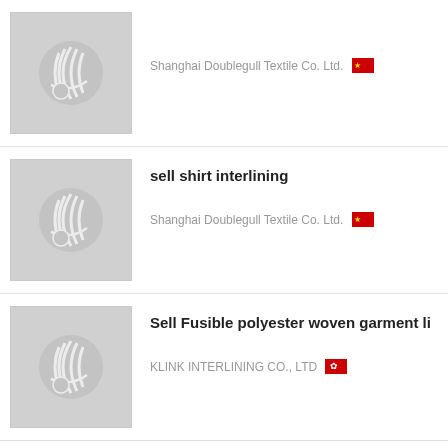Shanghai Doublegull Textile Co. Ltd. [CN flag]
sell shirt interlining — Shanghai Doublegull Textile Co. Ltd. [CN flag]
Sell Fusible polyester woven garment li... — KLINK INTERLINING CO., LTD [HK flag]
Sell Micro Dot Woven Polyester Fusible...